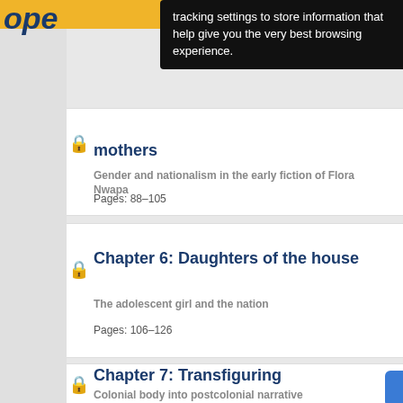[Figure (screenshot): Website screenshot showing a table of contents for an academic book with chapter listings, each with a lock icon, chapter title, subtitle, and page range. A black tooltip popup overlays the top portion with cookie/tracking consent text.]
tracking settings to store information that help give you the very best browsing experience.
mothers
Gender and nationalism in the early fiction of Flora Nwapa
Pages: 88–105
Chapter 6: Daughters of the house
The adolescent girl and the nation
Pages: 106–126
Chapter 7: Transfiguring
Colonial body into postcolonial narrative